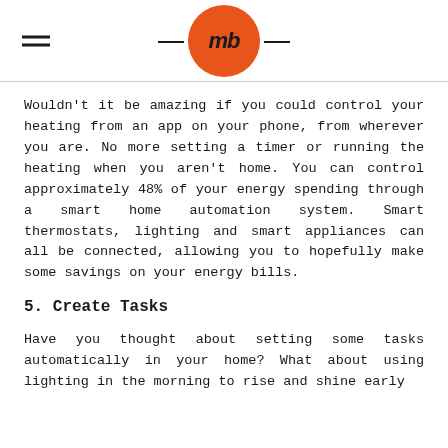mb logo with hamburger menu
Wouldn't it be amazing if you could control your heating from an app on your phone, from wherever you are. No more setting a timer or running the heating when you aren't home. You can control approximately 48% of your energy spending through a smart home automation system. Smart thermostats, lighting and smart appliances can all be connected, allowing you to hopefully make some savings on your energy bills.
5. Create Tasks
Have you thought about setting some tasks automatically in your home? What about using lighting in the morning to rise and shine early